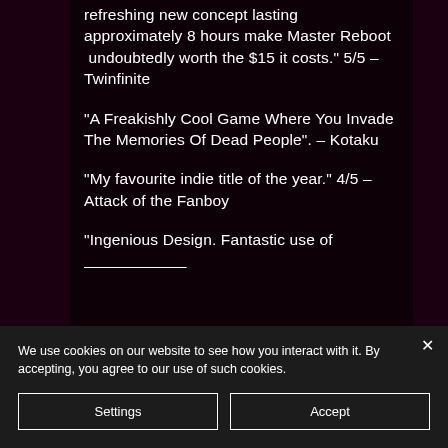refreshing new concept lasting approximately 8 hours make Master Reboot  undoubtedly worth the $15 it costs." 5/5 – Twinfinite
"A Freakishly Cool Game Where You Invade The Memories Of Dead People". – Kotaku
"My favourite indie title of the year." 4/5 – Attack of the Fanboy
"Ingenious Design. Fantastic use of
We use cookies on our website to see how you interact with it. By accepting, you agree to our use of such cookies.
Settings
Accept